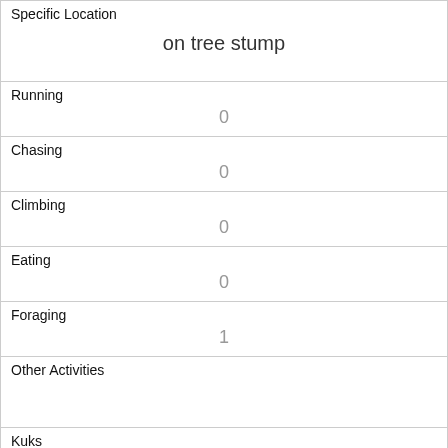| Specific Location | on tree stump |
| Running | 0 |
| Chasing | 0 |
| Climbing | 0 |
| Eating | 0 |
| Foraging | 1 |
| Other Activities |  |
| Kuks | 0 |
| Quaas | 0 |
| Moans | 0 |